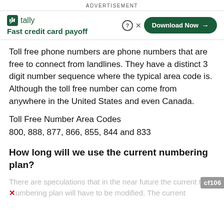ADVERTISEMENT
[Figure (screenshot): Tally app advertisement banner with logo, tagline 'Fast credit card payoff', and 'Download Now' button with close and help icons]
Toll free phone numbers are phone numbers that are free to connect from landlines. They have a distinct 3 digit number sequence where the typical area code is. Although the toll free number can come from anywhere in the United States and even Canada.
Toll Free Number Area Codes
800, 888, 877, 866, 855, 844 and 833
How long will we use the current numbering plan?
There are speculations that in the near future the current numbering plan will have to be modified. The current